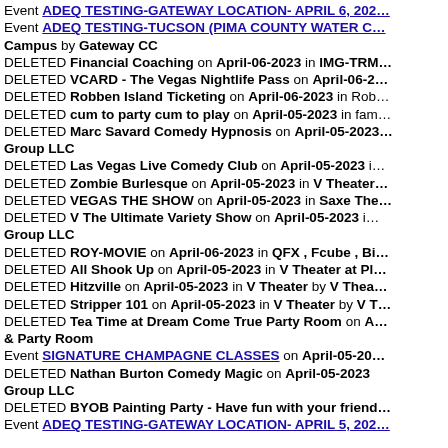Event ADEQ TESTING-GATEWAY LOCATION- APRIL 6, 202…
Event ADEQ TESTING-TUCSON (PIMA COUNTY WATER C…
Campus by Gateway CC
DELETED Financial Coaching on April-06-2023 in IMG-TRM…
DELETED VCARD - The Vegas Nightlife Pass on April-06-2…
DELETED Robben Island Ticketing on April-06-2023 in Rob…
DELETED cum to party cum to play on April-05-2023 in fam…
DELETED Marc Savard Comedy Hypnosis on April-05-2023… Group LLC
DELETED Las Vegas Live Comedy Club on April-05-2023 i…
DELETED Zombie Burlesque on April-05-2023 in V Theater…
DELETED VEGAS THE SHOW on April-05-2023 in Saxe The…
DELETED V The Ultimate Variety Show on April-05-2023 i… Group LLC
DELETED ROY-MOVIE on April-06-2023 in QFX , Fcube , Bi…
DELETED All Shook Up on April-05-2023 in V Theater at Pl…
DELETED Hitzville on April-05-2023 in V Theater by V Thea…
DELETED Stripper 101 on April-05-2023 in V Theater by V T…
DELETED Tea Time at Dream Come True Party Room on A… & Party Room
Event SIGNATURE CHAMPAGNE CLASSES on April-05-20…
DELETED Nathan Burton Comedy Magic on April-05-2023 … Group LLC
DELETED BYOB Painting Party - Have fun with your friend…
Event ADEQ TESTING-GATEWAY LOCATION- APRIL 5, 202…